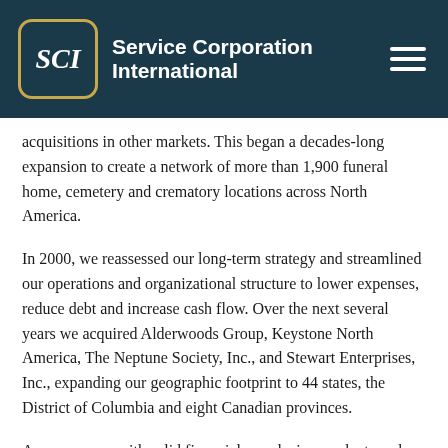Service Corporation International
acquisitions in other markets. This began a decades-long expansion to create a network of more than 1,900 funeral home, cemetery and crematory locations across North America.
In 2000, we reassessed our long-term strategy and streamlined our operations and organizational structure to lower expenses, reduce debt and increase cash flow. Over the next several years we acquired Alderwoods Group, Keystone North America, The Neptune Society, Inc., and Stewart Enterprises, Inc., expanding our geographic footprint to 44 states, the District of Columbia and eight Canadian provinces.
As a company with solid financials, exclusive products and customer benefits, as well as “best-in-class” policies, training,